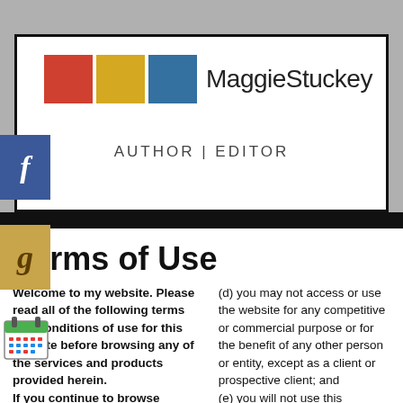Maggie Stuckey — AUTHOR | EDITOR
Terms of Use
Welcome to my website. Please read all of the following terms and conditions of use for this website before browsing any of the services and products provided herein.
(d) you may not access or use the website for any competitive or commercial purpose or for the benefit of any other person or entity, except as a client or prospective client; and